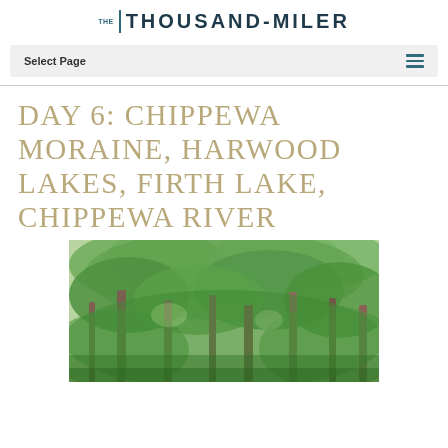THE THOUSAND-MILER
Select Page
DAY 6: CHIPPEWA MORAINE, HARWOOD LAKES, FIRTH LAKE, CHIPPEWA RIVER
[Figure (photo): Forest scene with tall trees and lush green foliage]